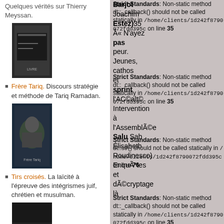Quelques vérités sur Thierry Meyssan.
[Figure (photo): Book cover image - dark mountainous cover]
Frère Tariq. Discours stratégie et méthode de Tariq Ramadan.
[Figure (photo): Book cover image - Frère Tariq with face portrait]
Tirs croisés. La laïcité à l'épreuve des intégrismes juif, chrétien et musulman.
[Figure (photo): Book cover image - Tirs croisés dark cover]
Foi contre Choix. La droite religieuse Prolife aux Etats-Unis.
Strict Standards: Non-static method dt::_callback() should not be called statically in /home/clients/1d242f8790072fdd395c on line 35
Strict Standards: Non-static method dt::_callback() should not be called statically in /home/clients/1d242f8790072fdd395c on line 35
Strict Standards: Non-static method dt::str() should not be called statically in /home/clients/1d242f8790072fdd395c on line 76
Strict Standards: Non-static method dt::_callback() should not be called statically in /home/clients/1d242f8790072fdd395c on line 35
Strict Standards: Non-static method dt::_callback() should not be called statically in /home/clients/1d242f8790072fdd395c on line 35